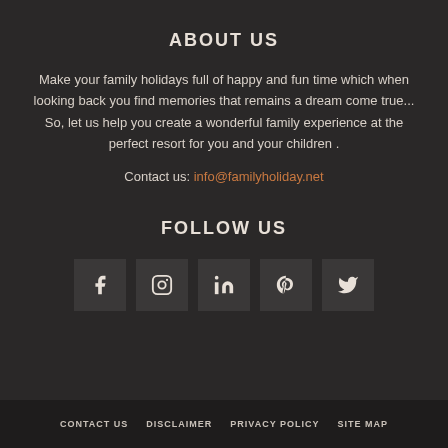ABOUT US
Make your family holidays full of happy and fun time which when looking back you find memories that remains a dream come true... So, let us help you create a wonderful family experience at the perfect resort for you and your children .
Contact us: info@familyholiday.net
FOLLOW US
[Figure (other): Social media icon buttons: Facebook, Instagram, LinkedIn, Pinterest, Twitter]
CONTACT US   DISCLAIMER   PRIVACY POLICY   SITE MAP